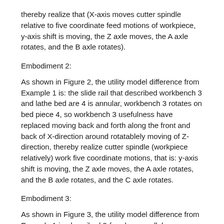thereby realize that (X-axis moves cutter spindle relative to five coordinate feed motions of workpiece, y-axis shift is moving, the Z axle moves, the A axle rotates, and the B axle rotates).
Embodiment 2:
As shown in Figure 2, the utility model difference from Example 1 is: the slide rail that described workbench 3 and lathe bed are 4 is annular, workbench 3 rotates on bed piece 4, so workbench 3 usefulness have replaced moving back and forth along the front and back of X-direction around rotatablely moving of Z-direction, thereby realize cutter spindle (workpiece relatively) work five coordinate motions, that is: y-axis shift is moving, the Z axle moves, the A axle rotates, and the B axle rotates, and the C axle rotates.
Embodiment 3:
As shown in Figure 3, the utility model difference from Example 1 is: described 3-freedom parallel mechanism 1 is installed on gantry frame 2 side uprights by slideway, guide rail 17 described in the utility model also can with fixed